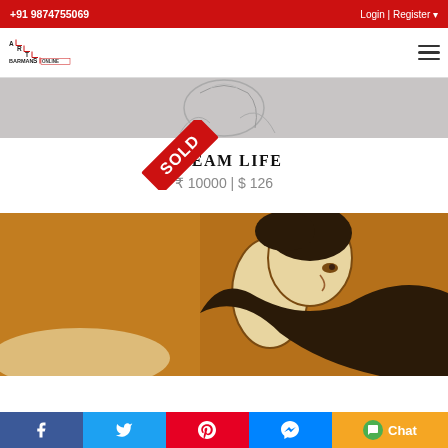+91 9874755069  Login | Register
[Figure (logo): Arts Barman Online logo with staircase design]
[Figure (photo): Partial pencil sketch artwork visible at top]
[Figure (infographic): Red SOLD diagonal ribbon/stamp]
DREAM LIFE
₹ 10000 | $ 126
[Figure (photo): Close-up of a painting showing a person's face and neck on an orange/brown background, painted in jute/textured medium]
Facebook | Twitter | Pinterest | Messenger | Chat